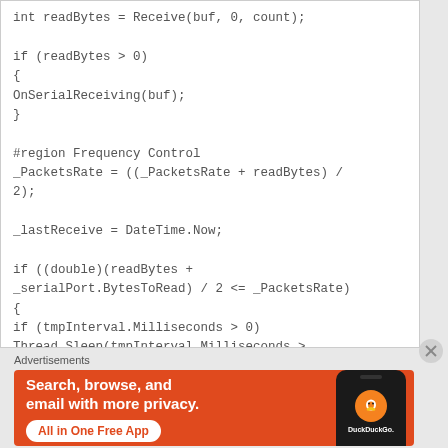int readBytes = Receive(buf, 0, count);

if (readBytes > 0)
{
OnSerialReceiving(buf);
}

#region Frequency Control
_PacketsRate = ((_PacketsRate + readBytes) /
2);

_lastReceive = DateTime.Now;

if ((double)(readBytes +
_serialPort.BytesToRead) / 2 <= _PacketsRate)
{
if (tmpInterval.Milliseconds > 0)
Thread.Sleep(tmpInterval.Milliseconds >
Advertisements
[Figure (other): DuckDuckGo advertisement banner with orange background. Text reads: 'Search, browse, and email with more privacy. All in One Free App'. Shows a phone with DuckDuckGo logo.]